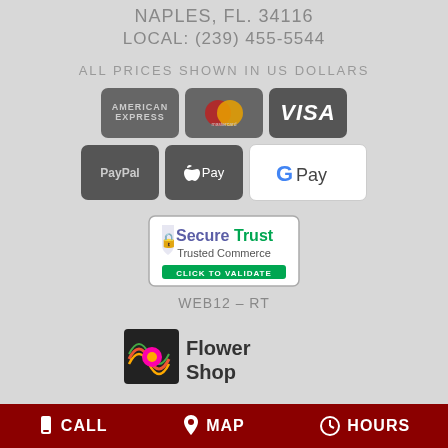NAPLES, FL. 34116
LOCAL: (239) 455-5544
ALL PRICES SHOWN IN US DOLLARS
[Figure (logo): Payment method icons: American Express, Mastercard, Visa, PayPal, Apple Pay, Google Pay]
[Figure (logo): SecureTrust Trusted Commerce - Click to Validate badge]
WEB12 - RT
[Figure (logo): Flower Shop logo with colorful icon]
CALL   MAP   HOURS